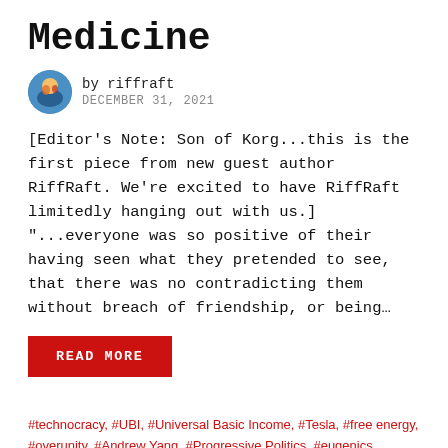Medicine
by riffraft
DECEMBER 31, 2021
[Editor's Note: Son of Korg...this is the first piece from new guest author RiffRaft. We're excited to have RiffRaft limitedly hanging out with us.] "...everyone was so positive of their having seen what they pretended to see, that there was no contradicting them without breach of friendship, or being…
READ MORE
#technocracy, #UBI, #Universal Basic Income, #Tesla, #free energy, #overunity, #Andrew Yang, #Progressive Politics, #eugenics, #transhumanism, #debt, #slavery, #wage slavery, #robotics, #artificial intelligence, #automation, #neofascism, #Neoplatonism, #Hermeticism,